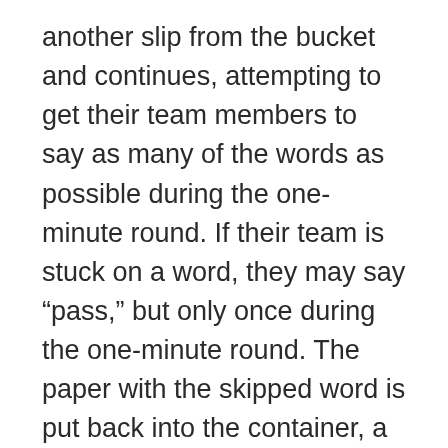another slip from the bucket and continues, attempting to get their team members to say as many of the words as possible during the one-minute round. If their team is stuck on a word, they may say “pass,” but only once during the one-minute round. The paper with the skipped word is put back into the container, a new word is drawn, and play continues.